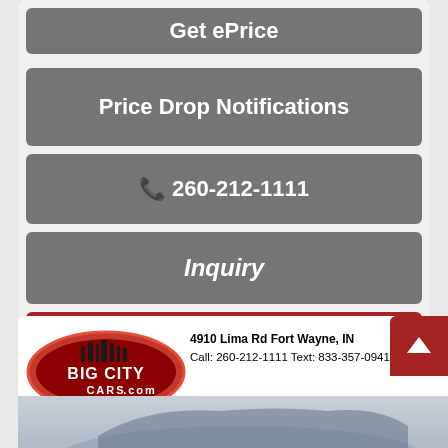Get ePrice
Price Drop Notifications
260-212-1111
Inquiry
Text Us
[Figure (logo): Big City Cars logo with red oval and city skyline graphic]
4910 Lima Rd Fort Wayne, IN
Call: 260-212-1111 Text: 833-357-0941
[Figure (photo): Partial view of a blue/grey car at the bottom of the page]